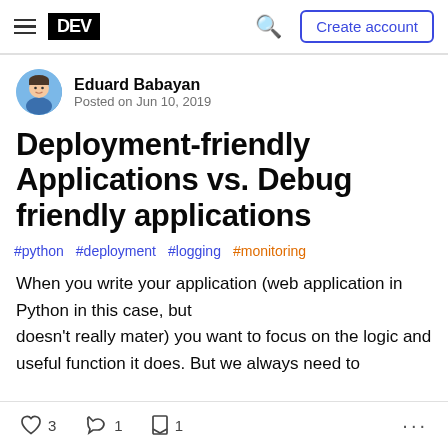DEV — Create account
Eduard Babayan
Posted on Jun 10, 2019
Deployment-friendly Applications vs. Debug friendly applications
#python #deployment #logging #monitoring
When you write your application (web application in Python in this case, but doesn't really mater) you want to focus on the logic and useful function it does. But we always need to
3 reactions  1 comment  1 bookmark  ...